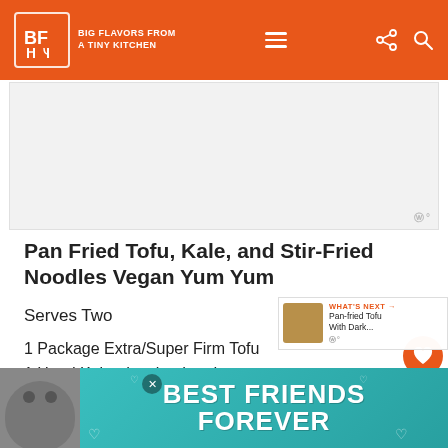BIG FLAVORS FROM A TINY KITCHEN
[Figure (other): Advertisement placeholder area (light gray box)]
Pan Fried Tofu, Kale, and Stir-Fried Noodles Vegan Yum Yum
Serves Two
1 Package Extra/Super Firm Tofu
1 Head Kale, deveined and torn
5 oz. Dried, Wide Rice Noodles (Mine come in 10 oz. packages)
[Figure (photo): Bottom advertisement banner featuring a cat with 'BEST FRIENDS FOREVER' text on teal background]